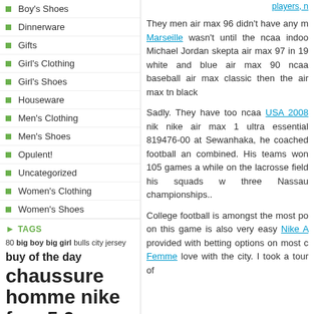Boy's Shoes
Dinnerware
Gifts
Girl's Clothing
Girl's Shoes
Houseware
Men's Clothing
Men's Shoes
Opulent!
Uncategorized
Women's Clothing
Women's Shoes
TAGS
80 big boy big girl bulls city jersey buy of the day chaussure homme nike free 5.0
They men air max 96 didn't have any m... Marseille wasn't until the ncaa indoo... Michael Jordan skepta air max 97 in 19... white and blue air max 90 ncaa baseball air max classic then the air max tn black
Sadly. They have too ncaa USA 2008 nik... nike air max 1 ultra essential 819476-00 at Sewanhaka, he coached football a... combined. His teams won 105 games a... while on the lacrosse field his squads w... three Nassau championships..
College football is amongst the most po... on this game is also very easy Nike A... provided with betting options on most c... Femme love with the city. I took a tour of